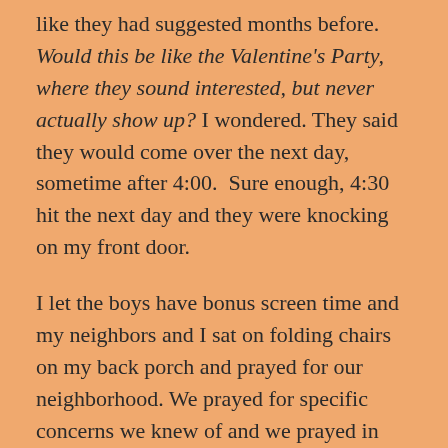like they had suggested months before. Would this be like the Valentine's Party, where they sound interested, but never actually show up? I wondered. They said they would come over the next day, sometime after 4:00. Sure enough, 4:30 hit the next day and they were knocking on my front door.
I let the boys have bonus screen time and my neighbors and I sat on folding chairs on my back porch and prayed for our neighborhood. We prayed for specific concerns we knew of and we prayed in general that Jesus' light would shine through us to the darkness around us.
And then they suggested hosting a